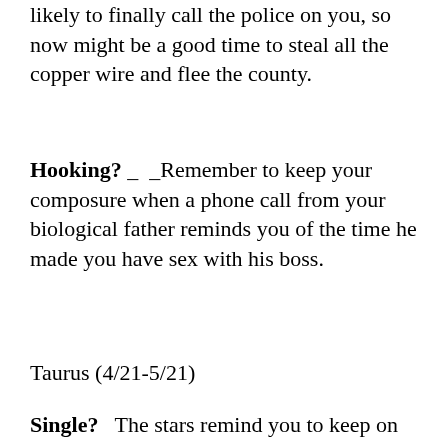likely to finally call the police on you, so now might be a good time to steal all the copper wire and flee the county.
Hooking? _  _Remember to keep your composure when a phone call from your biological father reminds you of the time he made you have sex with his boss.
Taurus (4/21-5/21)
Single?   The stars remind you to keep on your toes